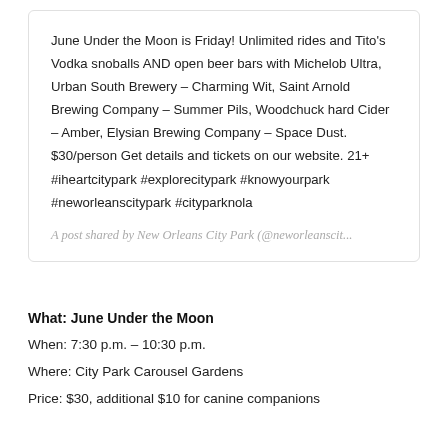June Under the Moon is Friday! Unlimited rides and Tito's Vodka snoballs AND open beer bars with Michelob Ultra, Urban South Brewery – Charming Wit, Saint Arnold Brewing Company – Summer Pils, Woodchuck hard Cider – Amber, Elysian Brewing Company – Space Dust. $30/person Get details and tickets on our website. 21+ #iheartcitypark #explorecitypark #knowyourpark #neworleanscitypark #cityparknola
A post shared by New Orleans City Park (@neworleanscit...
What: June Under the Moon
When: 7:30 p.m. – 10:30 p.m.
Where: City Park Carousel Gardens
Price: $30, additional $10 for canine companions